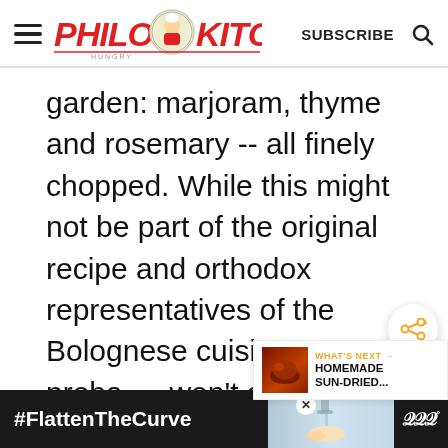PHILOS KITCHEN | SUBSCRIBE
garden: marjoram, thyme and rosemary -- all finely chopped. While this might not be part of the original recipe and orthodox representatives of the Bolognese cuisine proba won't approve, I thought that
[Figure (screenshot): What's Next overlay showing HOMEMADE SUN-DRIED... with a dark food image thumbnail]
[Figure (infographic): Bottom advertisement bar with #FlattenTheCurve text and handwashing image on dark background]